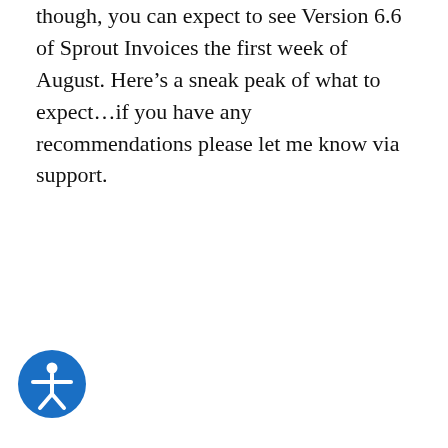though, you can expect to see Version 6.6 of Sprout Invoices the first week of August. Here's a sneak peak of what to expect...if you have any recommendations please let me know via support.
[Figure (illustration): Blue circular accessibility icon showing a stylized human figure with arms outstretched, in white on a blue background]